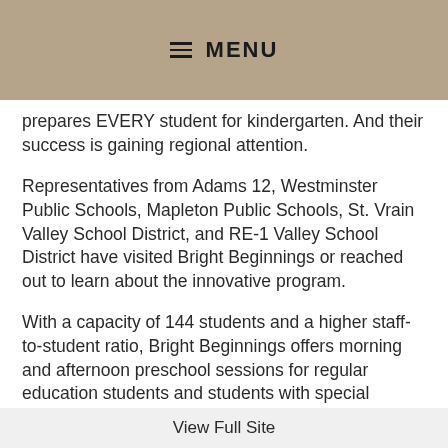≡ MENU
prepares EVERY student for kindergarten. And their success is gaining regional attention.
Representatives from Adams 12, Westminster Public Schools, Mapleton Public Schools, St. Vrain Valley School District, and RE-1 Valley School District have visited Bright Beginnings or reached out to learn about the innovative program.
With a capacity of 144 students and a higher staff-to-student ratio, Bright Beginnings offers morning and afternoon preschool sessions for regular education students and students with special needs.
A key part of what makes Bright Beginnings so innovative is a collaborative classroom approach where regular
View Full Site